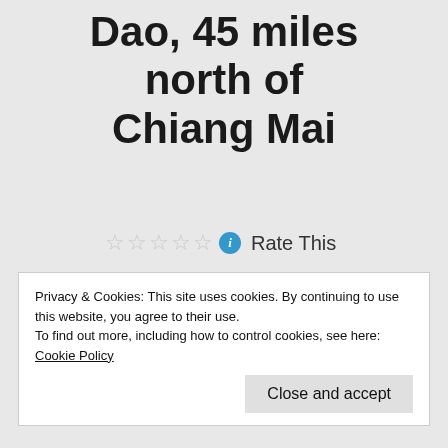Dao, 45 miles north of Chiang Mai
Rate This
This time on a whim, on my motorbike. Just had to get out of town on the spur of the moment.
Privacy & Cookies: This site uses cookies. By continuing to use this website, you agree to their use.
To find out more, including how to control cookies, see here: Cookie Policy